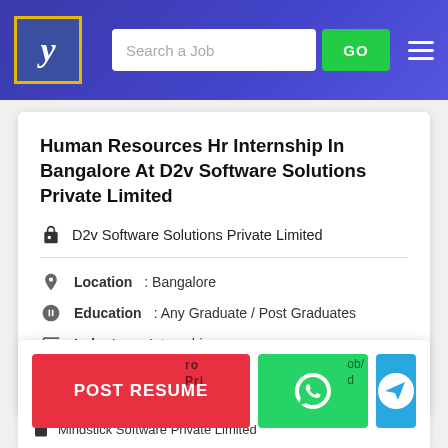Search a Job | GO
Human Resources Hr Internship In Bangalore At D2v Software Solutions Private Limited
D2v Software Solutions Private Limited
Location : Bangalore
Education : Any Graduate / Post Graduates
Industry : Internship
Experience : Freshers
POST RESUME
Mindstick Software Private Limited